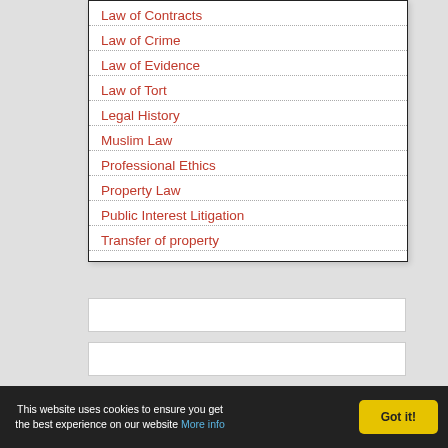Law of Contracts
Law of Crime
Law of Evidence
Law of Tort
Legal History
Muslim Law
Professional Ethics
Property Law
Public Interest Litigation
Transfer of property
This website uses cookies to ensure you get the best experience on our website More info  Got it!